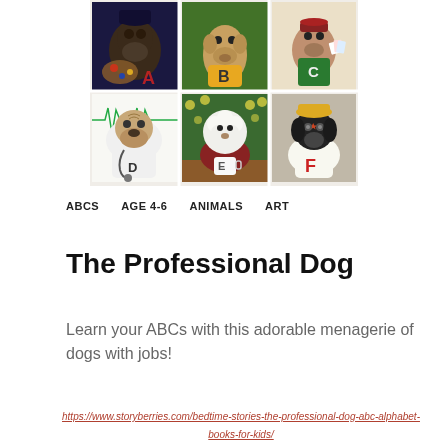[Figure (illustration): A 2x3 grid of illustrated paintings showing dogs dressed in various professional costumes: top row shows dogs labeled A (artist with palette), B (dog in yellow shirt), C (dog with cards/apron); bottom row shows dogs labeled D (pug in doctor coat with stethoscope), E (white fluffy dog with coffee cup), F (black lab in sports jersey with helmet).]
ABCS   AGE 4-6   ANIMALS   ART
The Professional Dog
Learn your ABCs with this adorable menagerie of dogs with jobs!
https://www.storyberries.com/bedtime-stories-the-professional-dog-abc-alphabet-books-for-kids/